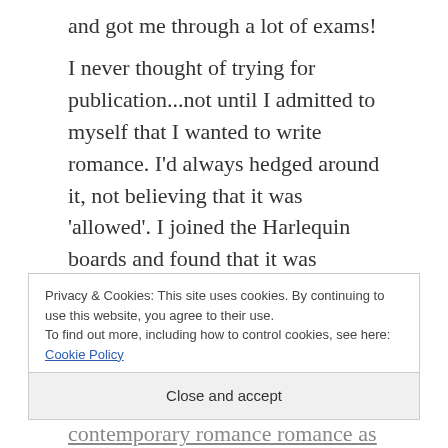and got me through a lot of exams!
I never thought of trying for publication...not until I admitted to myself that I wanted to write romance. I'd always hedged around it, not believing that it was 'allowed'. I joined the Harlequin boards and found that it was absolutely allowed and I should write more of it. A lot more. And that
Privacy & Cookies: This site uses cookies. By continuing to use this website, you agree to their use.
To find out more, including how to control cookies, see here: Cookie Policy
Close and accept
contemporary romance romance as a